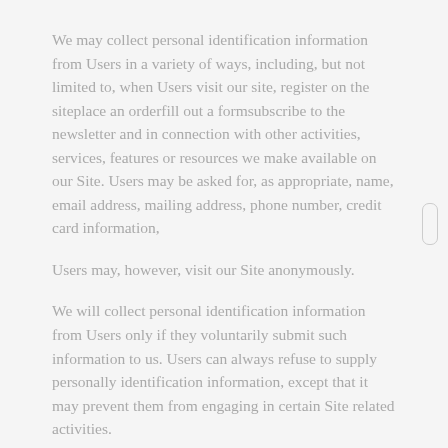We may collect personal identification information from Users in a variety of ways, including, but not limited to, when Users visit our site, register on the siteplace an orderfill out a formsubscribe to the newsletter and in connection with other activities, services, features or resources we make available on our Site. Users may be asked for, as appropriate, name, email address, mailing address, phone number, credit card information,
Users may, however, visit our Site anonymously.
We will collect personal identification information from Users only if they voluntarily submit such information to us. Users can always refuse to supply personally identification information, except that it may prevent them from engaging in certain Site related activities.
Consent
By using our website, you hereby consent to our privacy policy